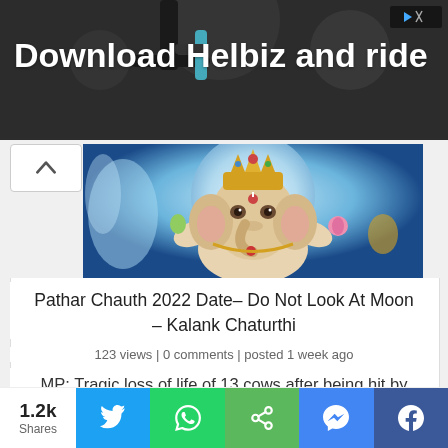[Figure (screenshot): Advertisement banner with dark background showing 'Download Helbiz and ride' text and a scooter handlebar image. Skip ad button in top right.]
[Figure (photo): Colorful illustration of Lord Ganesha with golden crown, holding a lotus flower and other items, against a blue moonlit background.]
Pathar Chauth 2022 Date– Do Not Look At Moon – Kalank Chaturthi
123 views | 0 comments | posted 1 week ago
MP: Tragic loss of life of 13 cows after being hit by way of teach in Harda
1.2k Shares